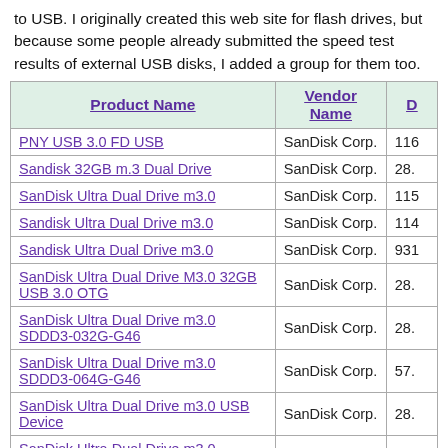to USB. I originally created this web site for flash drives, but because some people already submitted the speed test results of external USB disks, I added a group for them too.
| Product Name | Vendor Name | D |
| --- | --- | --- |
| PNY USB 3.0 FD USB | SanDisk Corp. | 116 |
| Sandisk 32GB m.3 Dual Drive | SanDisk Corp. | 28. |
| SanDisk Ultra Dual Drive m3.0 | SanDisk Corp. | 115 |
| Sandisk Ultra Dual Drive m3.0 | SanDisk Corp. | 114 |
| Sandisk Ultra Dual Drive m3.0 | SanDisk Corp. | 931 |
| SanDisk Ultra Dual Drive M3.0 32GB USB 3.0 OTG | SanDisk Corp. | 28. |
| SanDisk Ultra Dual Drive m3.0 SDDD3-032G-G46 | SanDisk Corp. | 28. |
| SanDisk Ultra Dual Drive m3.0 SDDD3-064G-G46 | SanDisk Corp. | 57. |
| SanDisk Ultra Dual Drive m3.0 USB Device | SanDisk Corp. | 28. |
| SanDisk Ultra Dual Drive m3.0 USB3.0 | SanDisk Corp. | 28. |
| SanDisk Ultra Dual USB 3.0 Device 32GB | SanDisk Corp. | 28. |
| SanDisk Ultra Dual USB 3.0 Device 32GB | SanDisk Corp. | 28. |
| SanDisk Ultra Dual USB 3.0 Device 32GB | SanDisk Corp. | 28. |